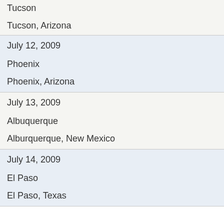Tucson
Tucson, Arizona
July 12, 2009
Phoenix
Phoenix, Arizona
July 13, 2009
Albuquerque
Alburquerque, New Mexico
July 14, 2009
El Paso
El Paso, Texas